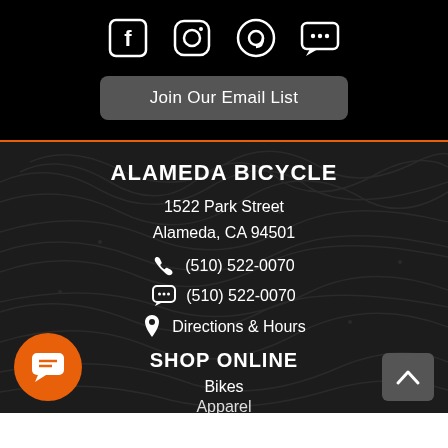[Figure (other): Social media icons: Facebook, Instagram, Email (@), SMS/Chat (...)]
Join Our Email List
ALAMEDA BICYCLE
1522 Park Street
Alameda, CA 94501
(510) 522-0070
(510) 522-0070
Directions & Hours
SHOP ONLINE
Bikes
Apparel